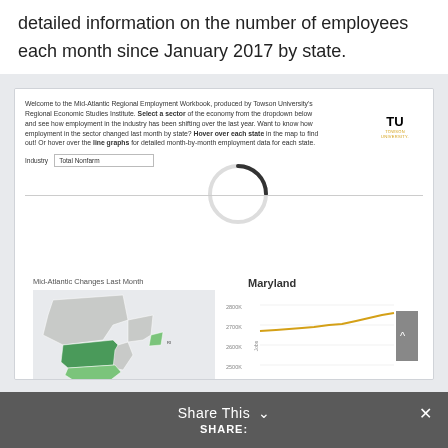detailed information on the number of employees each month since January 2017 by state.
[Figure (screenshot): Screenshot of the Mid-Atlantic Regional Employment Workbook by Towson University's Regional Economic Studies Institute. Shows a dropdown for Industry set to 'Total Nonfarm', a loading spinner, a map of Mid-Atlantic states with Pennsylvania highlighted in green labeled 'Mid-Atlantic Changes Last Month', and a line chart labeled 'Maryland' showing Jobs on y-axis (2500K-2800K) with a yellow/gold trend line rising from about 2700K.]
Share This ∨  ×  SHARE: